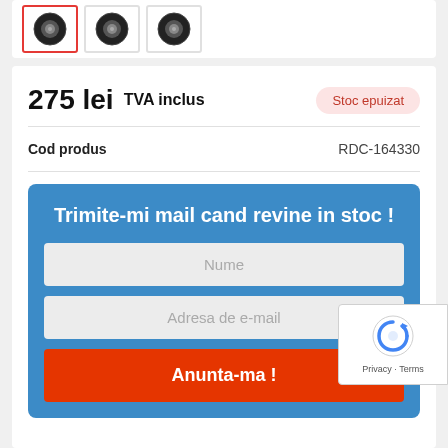[Figure (photo): Three tire product thumbnail images in a row, first one with red border (active selection)]
275 lei  TVA inclus
Stoc epuizat
Cod produs   RDC-164330
Trimite-mi mail cand revine in stoc !
Nume
Adresa de e-mail
Anunta-ma !
[Figure (logo): Google reCAPTCHA widget with reCAPTCHA logo and Privacy · Terms text]